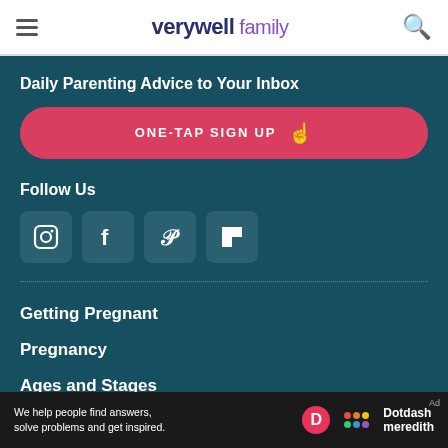verywell family
Daily Parenting Advice to Your Inbox
ONE-TAP SIGN UP
Follow Us
[Figure (other): Social media icons: Instagram, Facebook, Pinterest, Flipboard]
Getting Pregnant
Pregnancy
Ages and Stages
Parenting
We help people find answers, solve problems and get inspired. Dotdash meredith